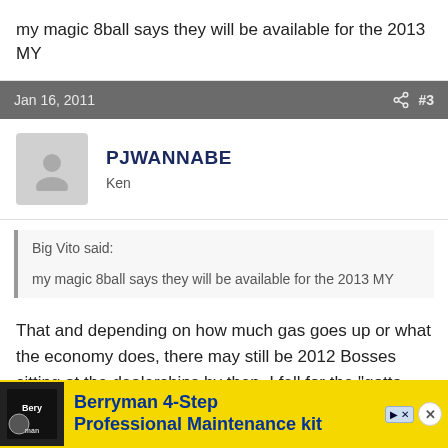my magic 8ball says they will be available for the 2013 MY
Jan 16, 2011  #3
PJWANNABE
Ken
Big Vito said:
my magic 8ball says they will be available for the 2013 MY
That and depending on how much gas goes up or what the economy does, there may still be 2012 Bosses sitting at the dealerships by then. I fell for the "gotta have it" hype when the '08    MSRP money
[Figure (infographic): Berryman 4-Step Professional Maintenance kit advertisement banner]